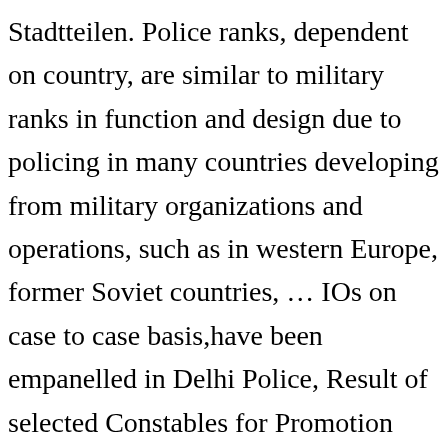Stadtteilen. Police ranks, dependent on country, are similar to military ranks in function and design due to policing in many countries developing from military organizations and operations, such as in western Europe, former Soviet countries, … IOs on case to case basis,have been empanelled in Delhi Police, Result of selected Constables for Promotion List for the Post of HC(Exe. Issue of Registration Certificate 30105. Delhi (India), January 17 (ANI): Delhi police commissioner SN Shrivastava on Saturday reviewed security